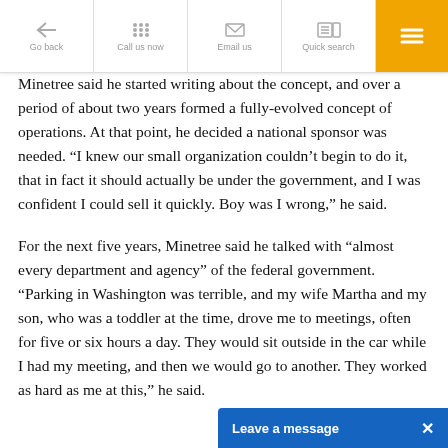[Figure (screenshot): Navigation bar with Go back, Call us now, Email us, Quick search, and orange hamburger menu buttons]
Minetree said he started writing about the concept, and over a period of about two years formed a fully-evolved concept of operations. At that point, he decided a national sponsor was needed. “I knew our small organization couldn’t begin to do it, that in fact it should actually be under the government, and I was confident I could sell it quickly. Boy was I wrong,” he said.
For the next five years, Minetree said he talked with “almost every department and agency” of the federal government. “Parking in Washington was terrible, and my wife Martha and my son, who was a toddler at the time, drove me to meetings, often for five or six hours a day. They would sit outside in the car while I had my meeting, and then we would go to another. They worked as hard as me at this,” he said.
[Figure (screenshot): Leave a message button bar in blue at the bottom right]